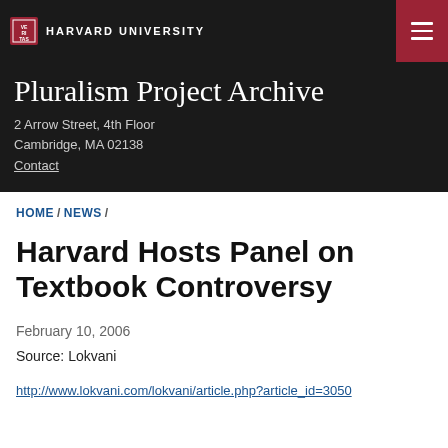HARVARD UNIVERSITY
Pluralism Project Archive
2 Arrow Street, 4th Floor
Cambridge, MA 02138
Contact
HOME / NEWS /
Harvard Hosts Panel on Textbook Controversy
February 10, 2006
Source: Lokvani
http://www.lokvani.com/lokvani/article.php?article_id=3050